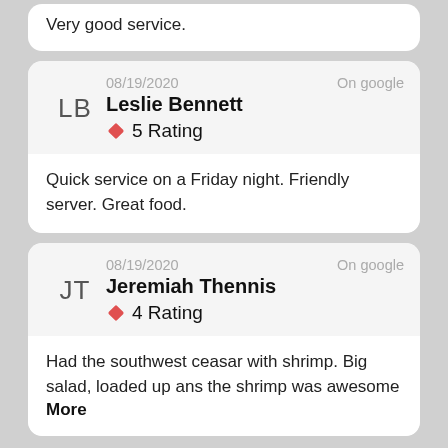Very good service.
08/19/2020  On google
Leslie Bennett
5 Rating
Quick service on a Friday night. Friendly server. Great food.
08/19/2020  On google
Jeremiah Thennis
4 Rating
Had the southwest ceasar with shrimp. Big salad, loaded up ans the shrimp was awesome
More